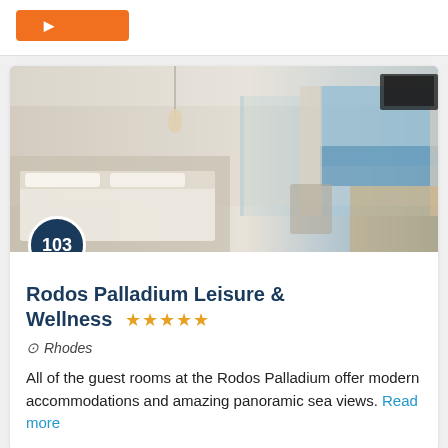[Figure (other): Orange button at top of page (partially visible)]
[Figure (photo): Hotel room photo showing modern guest room with large bed, pendant lighting, glass partition, desk area, and ocean view through sliding doors. Badge showing number 103 overlaid on lower-left of image.]
Rodos Palladium Leisure & Wellness ★★★★★
Rhodes
All of the guest rooms at the Rodos Palladium offer modern accommodations and amazing panoramic sea views. Read more